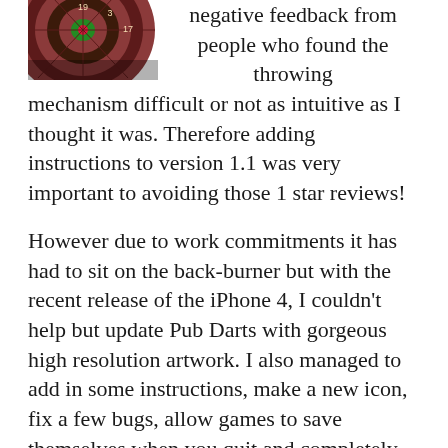[Figure (photo): Dartboard image shown in upper left corner, partially cropped, showing red and brown dartboard with numbers visible]
negative feedback from people who found the throwing mechanism difficult or not as intuitive as I thought it was. Therefore adding instructions to version 1.1 was very important to avoiding those 1 star reviews!
However due to work commitments it has had to sit on the back-burner but with the recent release of the iPhone 4, I couldn’t help but update Pub Darts with gorgeous high resolution artwork. I also managed to add in some instructions, make a new icon, fix a few bugs, allow games to save themselves when you quit and completely redo the shadows to be more ‘iPhone-like’. This free update can be grabbed immediately from your iPhone by updating in the App Store application.
More updates are coming soon. Feel free to suggest some features you’d like to see. If you’ve yet to experience Pub Darts on your iPhone, grab it for free